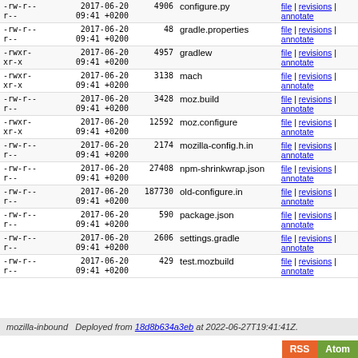| Permissions | Date | Size | Filename | Links |
| --- | --- | --- | --- | --- |
| -rw-r--r-- | 2017-06-20 09:41 +0200 | 4906 | configure.py | file | revisions | annotate |
| -rw-r--r-- | 2017-06-20 09:41 +0200 | 48 | gradle.properties | file | revisions | annotate |
| -rwxr-xr-x | 2017-06-20 09:41 +0200 | 4957 | gradlew | file | revisions | annotate |
| -rwxr-xr-x | 2017-06-20 09:41 +0200 | 3138 | mach | file | revisions | annotate |
| -rw-r--r-- | 2017-06-20 09:41 +0200 | 3428 | moz.build | file | revisions | annotate |
| -rwxr-xr-x | 2017-06-20 09:41 +0200 | 12592 | moz.configure | file | revisions | annotate |
| -rw-r--r-- | 2017-06-20 09:41 +0200 | 2174 | mozilla-config.h.in | file | revisions | annotate |
| -rw-r--r-- | 2017-06-20 09:41 +0200 | 27408 | npm-shrinkwrap.json | file | revisions | annotate |
| -rw-r--r-- | 2017-06-20 09:41 +0200 | 187730 | old-configure.in | file | revisions | annotate |
| -rw-r--r-- | 2017-06-20 09:41 +0200 | 590 | package.json | file | revisions | annotate |
| -rw-r--r-- | 2017-06-20 09:41 +0200 | 2606 | settings.gradle | file | revisions | annotate |
| -rw-r--r-- | 2017-06-20 09:41 +0200 | 429 | test.mozbuild | file | revisions | annotate |
mozilla-inbound   Deployed from 18d8b634a3eb at 2022-06-27T19:41:41Z.